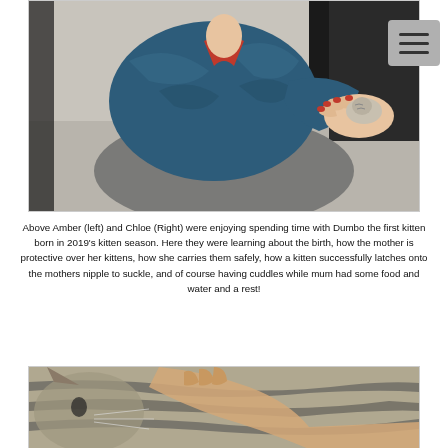[Figure (photo): A woman wearing a blue puffer jacket sitting on a carpet holding a tiny newborn kitten in her cupped hands. She has red painted fingernails. Behind her is dark furniture.]
Above Amber (left) and Chloe (Right) were enjoying spending time with Dumbo the first kitten born in 2019's kitten season. Here they were learning about the birth, how the mother is protective over her kittens, how she carries them safely, how a kitten successfully latches onto the mothers nipple to suckle, and of course having cuddles while mum had some food and water and a rest!
[Figure (photo): Close-up photo of a tabby cat being petted, showing the cat's striped fur and a human hand stroking it.]